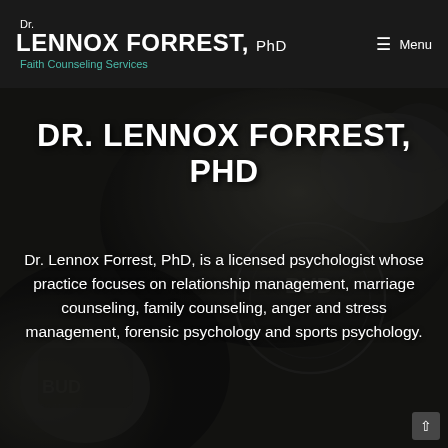Dr. LENNOX FORREST, PhD
Faith Counseling Services
DR. LENNOX FORREST, PhD
Dr. Lennox Forrest, PhD, is a licensed psychologist whose practice focuses on relationship management, marriage counseling, family counseling, anger and stress management, forensic psychology and sports psychology.
[Figure (photo): Dark monochrome background photo of boxing gloves with sports/fitness equipment, serving as hero image backdrop]